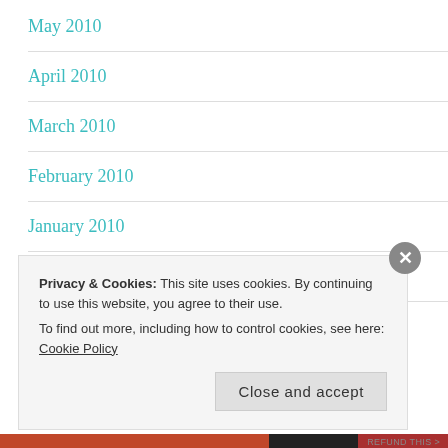May 2010
April 2010
March 2010
February 2010
January 2010
November 2009
Privacy & Cookies: This site uses cookies. By continuing to use this website, you agree to their use. To find out more, including how to control cookies, see here: Cookie Policy
Close and accept